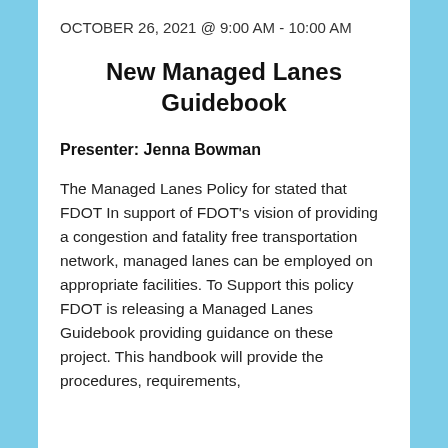OCTOBER 26, 2021 @ 9:00 AM - 10:00 AM
New Managed Lanes Guidebook
Presenter: Jenna Bowman
The Managed Lanes Policy for stated that FDOT In support of FDOT’s vision of providing a congestion and fatality free transportation network, managed lanes can be employed on appropriate facilities. To Support this policy FDOT is releasing a Managed Lanes Guidebook providing guidance on these project. This handbook will provide the procedures, requirements,